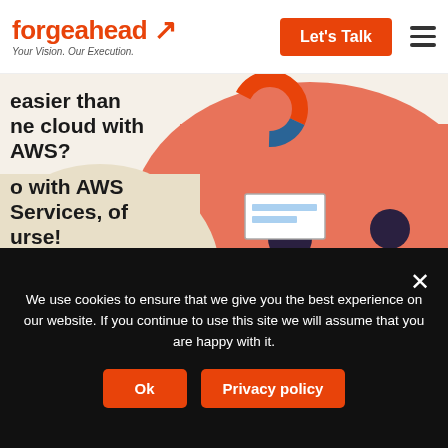forgeahead — Your Vision. Our Execution.
[Figure (illustration): Illustration of three people working at a table with laptops, with an AWS logo and bar chart on a presentation screen in the background. Left side shows partial bold text: 'easier than the cloud with AWS? to with AWS Services, of ourse!']
The Right Continuity of Managed AWS...
We use cookies to ensure that we give you the best experience on our website. If you continue to use this site we will assume that you are happy with it.
Ok
Privacy policy